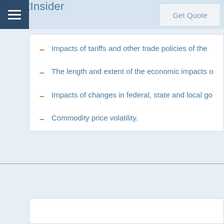StreetInsider  Get Quote
Impacts of tariffs and other trade policies of the
The length and extent of the economic impacts o
Impacts of changes in federal, state and local go
Commodity price volatility.